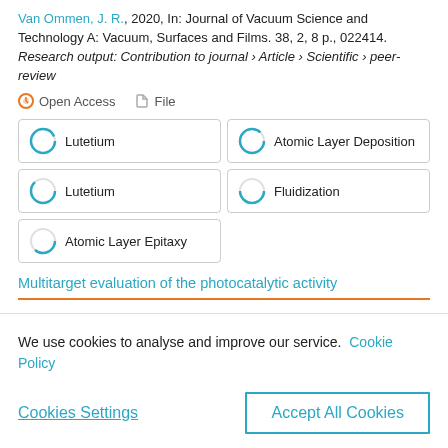Van Ommen, J. R., 2020, In: Journal of Vacuum Science and Technology A: Vacuum, Surfaces and Films. 38, 2, 8 p., 022414. Research output: Contribution to journal › Article › Scientific › peer-review
Open Access   File
Lutetium
Atomic Layer Deposition
Lutetium
Fluidization
Atomic Layer Epitaxy
Multitarget evaluation of the photocatalytic activity
We use cookies to analyse and improve our service.  Cookie Policy
Cookies Settings
Accept All Cookies